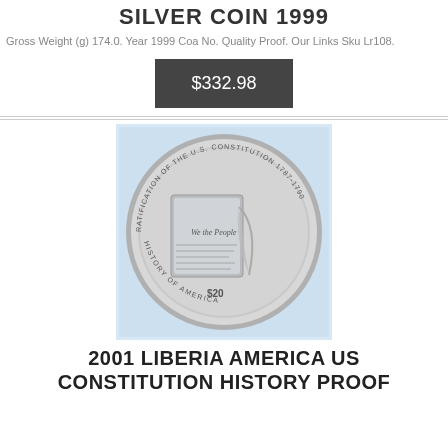SILVER COIN 1999
Gross Weight (g) 174.0. Year 1999 Coa No. Quality Proof. Our Links Sku Lr108.
$332.98
[Figure (photo): A silver proof coin in a capsule holder. The coin shows 'We the People' text and 'RATIFICATION OF THE U.S. CONSTITUTION' around the edge along with 'HISTORY OF AMERICA', with a $20 denomination.]
2001 LIBERIA AMERICA US CONSTITUTION HISTORY PROOF